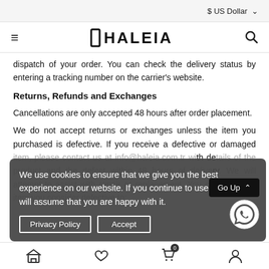$ US Dollar
HALEIA
dispatch of your order. You can check the delivery status by entering a tracking number on the carrier's website.
Returns, Refunds and Exchanges
Cancellations are only accepted 48 hours after order placement.
We do not accept returns or exchanges unless the item you purchased is defective. If you receive a defective or damaged item, please contact us at info@haleia.com.tr with details of the product and the defect within 48 hours of delivery. We will attempt to assist with repair or replacement. You can send the item you consider defective to:
We use cookies to ensure that we give you the best experience on our website. If you continue to use this site we will assume that you are happy with it.
Privacy Policy
Accept